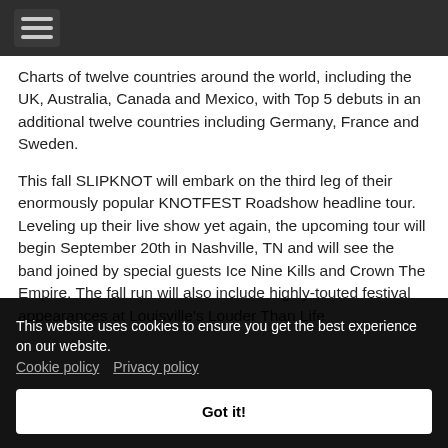Navigation menu bar with hamburger icon
Charts of twelve countries around the world, including the UK, Australia, Canada and Mexico, with Top 5 debuts in an additional twelve countries including Germany, France and Sweden.
This fall SLIPKNOT will embark on the third leg of their enormously popular KNOTFEST Roadshow headline tour. Leveling up their live show yet again, the upcoming tour will begin September 20th in Nashville, TN and will see the band joined by special guests Ice Nine Kills and Crown The Empire. The fall run will also include highly-touted festival appearances at Louisville's Louder Than Life
This website uses cookies to ensure you get the best experience on our website. Cookie policy  Privacy policy
Got it!